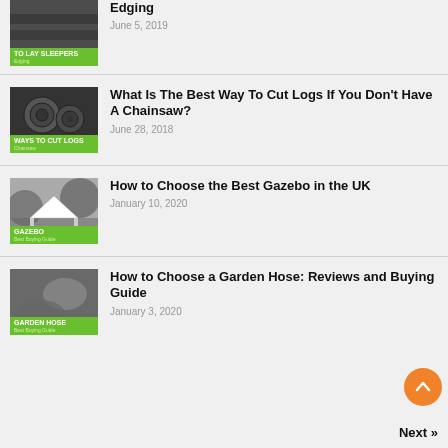Edging — June 5, 2019
What Is The Best Way To Cut Logs If You Don't Have A Chainsaw? — June 28, 2018
How to Choose the Best Gazebo in the UK — January 10, 2020
How to Choose a Garden Hose: Reviews and Buying Guide — January 3, 2020
Next »